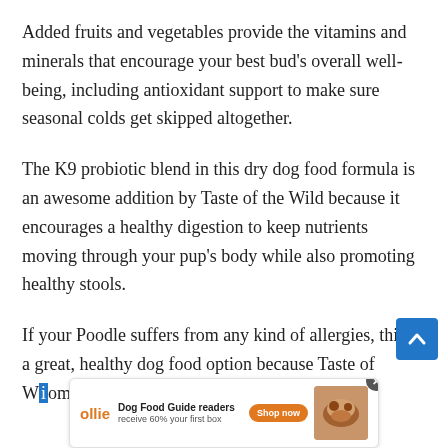Added fruits and vegetables provide the vitamins and minerals that encourage your best bud's overall well-being, including antioxidant support to make sure seasonal colds get skipped altogether.
The K9 probiotic blend in this dry dog food formula is an awesome addition by Taste of the Wild because it encourages a healthy digestion to keep nutrients moving through your pup's body while also promoting healthy stools.
If your Poodle suffers from any kind of allergies, this is a great, healthy dog food option because Taste of W… omits filler…
[Figure (other): Advertisement banner for Ollie dog food: 'Dog Food Guide readers receive 60% your first box' with Shop now button and food image. Scroll-to-top blue button on the right side.]